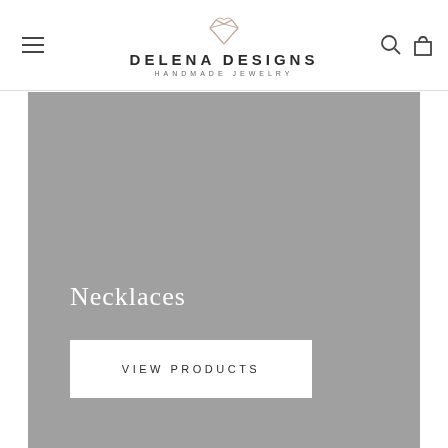DELENA DESIGNS HANDMADE JEWELRY
[Figure (photo): Gray hero banner image for a jewelry website category page showing Necklaces with a 'VIEW PRODUCTS' button]
Necklaces
VIEW PRODUCTS